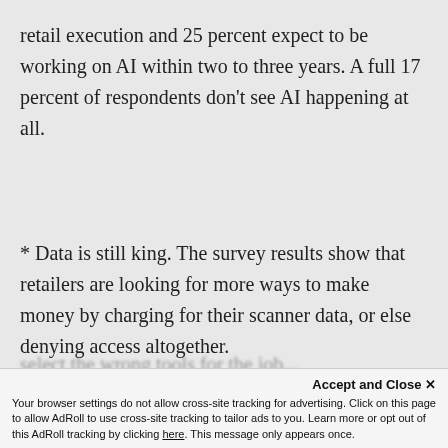retail execution and 25 percent expect to be working on AI within two to three years. A full 17 percent of respondents don't see AI happening at all.
* Data is still king. The survey results show that retailers are looking for more ways to make money by charging for their scanner data, or else denying access altogether.
* User organizations continued to select the wrong tools for the job...
Accept and Close ✕
Your browser settings do not allow cross-site tracking for advertising. Click on this page to allow AdRoll to use cross-site tracking to tailor ads to you. Learn more or opt out of this AdRoll tracking by clicking here. This message only appears once.